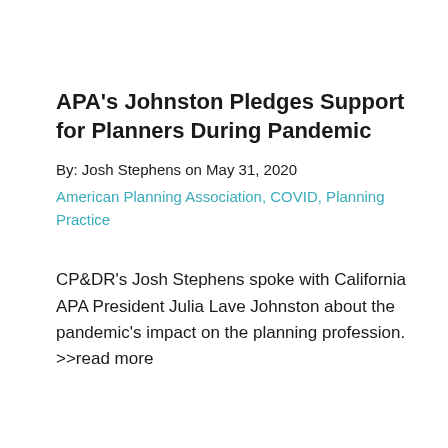APA's Johnston Pledges Support for Planners During Pandemic
By: Josh Stephens on May 31, 2020
American Planning Association, COVID, Planning Practice
CP&DR's Josh Stephens spoke with California APA President Julia Lave Johnston about the pandemic's impact on the planning profession. >>read more